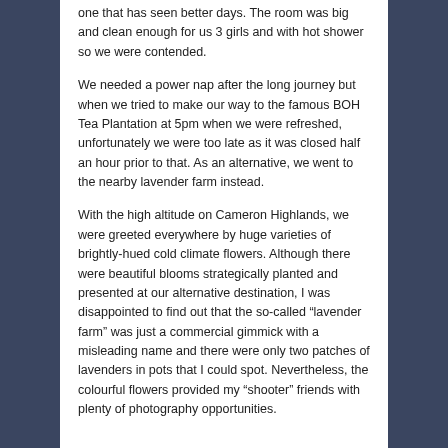one that has seen better days. The room was big and clean enough for us 3 girls and with hot shower so we were contended.
We needed a power nap after the long journey but when we tried to make our way to the famous BOH Tea Plantation at 5pm when we were refreshed, unfortunately we were too late as it was closed half an hour prior to that. As an alternative, we went to the nearby lavender farm instead.
With the high altitude on Cameron Highlands, we were greeted everywhere by huge varieties of brightly-hued cold climate flowers. Although there were beautiful blooms strategically planted and presented at our alternative destination, I was disappointed to find out that the so-called “lavender farm” was just a commercial gimmick with a misleading name and there were only two patches of lavenders in pots that I could spot. Nevertheless, the colourful flowers provided my “shooter” friends with plenty of photography opportunities.